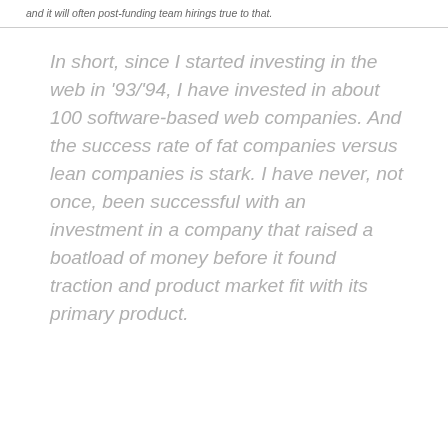and it will often post-funding team hirings true to that.
In short, since I started investing in the web in '93/'94, I have invested in about 100 software-based web companies. And the success rate of fat companies versus lean companies is stark. I have never, not once, been successful with an investment in a company that raised a boatload of money before it found traction and product market fit with its primary product.